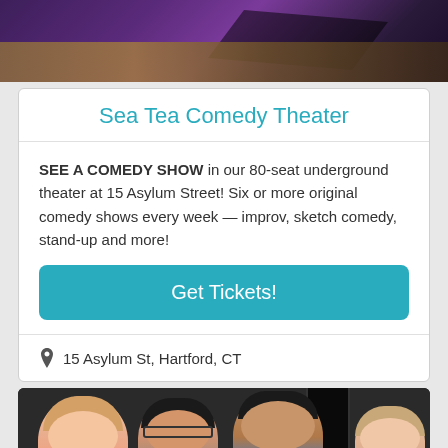[Figure (photo): Top portion of a darkened stage or theater interior with purple/dark lighting and a wooden surface visible, partially cropped.]
Sea Tea Comedy Theater
SEE A COMEDY SHOW in our 80-seat underground theater at 15 Asylum Street! Six or more original comedy shows every week — improv, sketch comedy, stand-up and more!
Get Tickets!
15 Asylum St, Hartford, CT
[Figure (photo): Group photo of four people (three women and one man) standing together, smiling, against a dark background.]